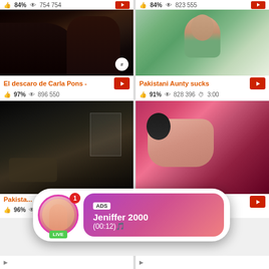[Figure (screenshot): Partial top row showing two video thumbnails with stats: 84% / 754 754 and 84% / 823 555]
[Figure (screenshot): Video thumbnail: El descaro de Carla Pons - showing two people, 97%, 896 550 views]
[Figure (screenshot): Video thumbnail: Pakistani Aunty sucks showing person in green shirt, 91%, 828 396 views, 3:00]
[Figure (screenshot): Video thumbnail: Pakista... showing bathroom mirror scene, 96%, 521 016 views, 1:01]
[Figure (screenshot): Video thumbnail: partial, showing woman on bed, 96%, 818 012 views]
[Figure (advertisement): Ad overlay popup: ADS Jeniffer 2000 (00:12) with avatar, LIVE badge]
[Figure (screenshot): Bottom partial row showing two more video card stubs]